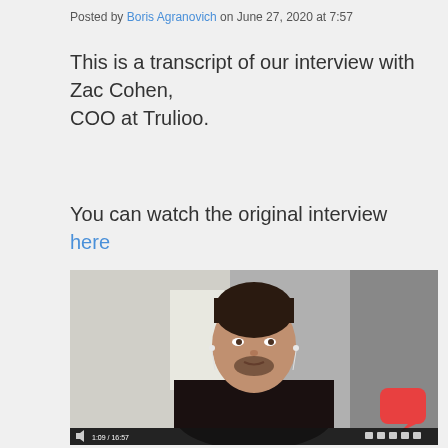Posted by Boris Agranovich on June 27, 2020 at 7:57
This is a transcript of our interview with Zac Cohen, COO at Trulioo.
You can watch the original interview here
[Figure (photo): Video screenshot of a man with dark hair, wearing a dark jacket and earphones, appearing to speak during a video call. A video player control bar is visible at the bottom showing timestamp 1:09 / 16:57. A red chat bubble icon appears in the bottom right corner.]